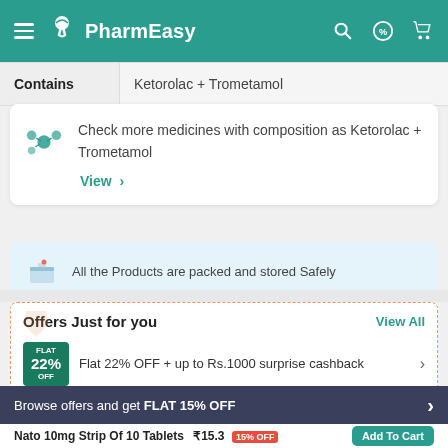PharmEasy
| Contains |  |
| --- | --- |
| Contains | Ketorolac + Trometamol |
Check more medicines with composition as Ketorolac + Trometamol
View >
All the Products are packed and stored Safely
Offers Just for you
View All
Flat 22% OFF + up to Rs.1000 surprise cashback
Browse offers and get FLAT 15% OFF
Nato 10mg Strip Of 10 Tablets ₹15.3 15% OFF
Add To Cart